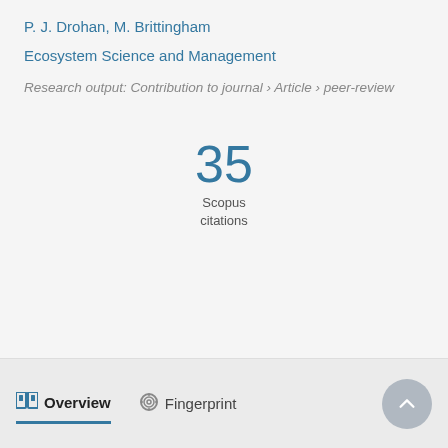P. J. Drohan, M. Brittingham
Ecosystem Science and Management
Research output: Contribution to journal › Article › peer-review
35 Scopus citations
Overview   Fingerprint